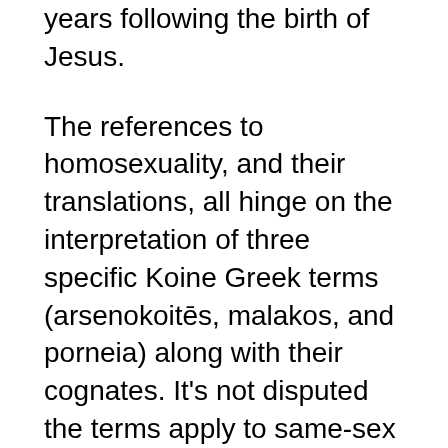years following the birth of Jesus.
The references to homosexuality, and their translations, all hinge on the interpretation of three specific Koine Greek terms (arsenokoitēs, malakos, and porneia) along with their cognates. It's not disputed the terms apply to same-sex relationships, and many biblical scholars agree they refer to and forbid homosexuality.
However, other biblical scholars disagree. Homosexuality Revisited in the Light of the Current Climate suggests "these passages may speak to a prohibition against pederasty and prostitution," theologian Calvin Smith